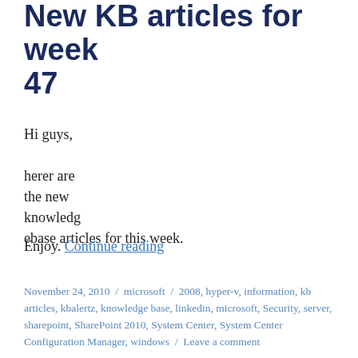New KB articles for week 47
Hi guys,
herer are the new knowledg ebase articles for this week.
Enjoy. Continue reading
November 24, 2010 / microsoft / 2008, hyper-v, information, kb articles, kbalertz, knowledge base, linkedin, microsoft, Security, server, sharepoint, SharePoint 2010, System Center, System Center Configuration Manager, windows / Leave a comment